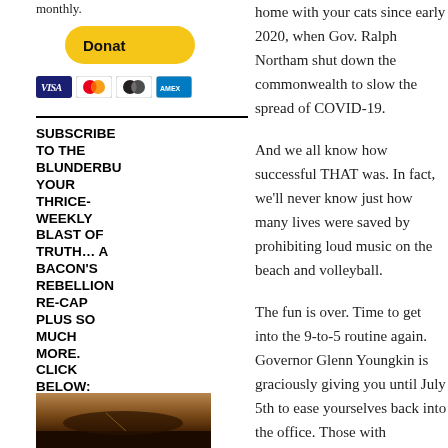monthly.
[Figure (other): PayPal Donate button (yellow rounded rectangle)]
[Figure (other): Payment icons: Visa, Mastercard, Mastercard, American Express credit card logos]
SUBSCRIBE TO THE BLUNDERBU YOUR THRICE-WEEKLY BLAST OF TRUTH… A BACON'S REBELLION RE-CAP PLUS SO MUCH MORE. CLICK BELOW:
[Figure (photo): Partial photo at bottom left, appears to be an outdoor/landscape scene with warm tones]
home with your cats since early 2020, when Gov. Ralph Northam shut down the commonwealth to slow the spread of COVID-19.
And we all know how successful THAT was. In fact, we'll never know just how many lives were saved by prohibiting loud music on the beach and volleyball.
The fun is over. Time to get into the 9-to-5 routine again. Governor Glenn Youngkin is graciously giving you until July 5th to ease yourselves back into the office. Those with legitimate health needs or other concerns can apply to continue to telecommute, but the expectation is